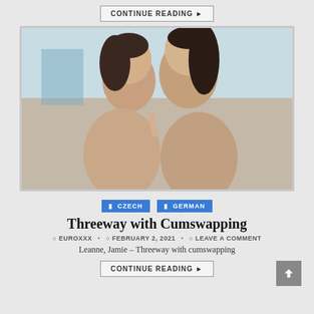CONTINUE READING ▶
[Figure (photo): Two young women with dark hair posing closely together, tongues out, in a bathroom/indoor setting with light blue walls]
CZECH   GERMAN
Threeway with Cumswapping
EUROXXX • FEBRUARY 2, 2021 • LEAVE A COMMENT
Leanne, Jamie – Threeway with cumswapping
CONTINUE READING ▶